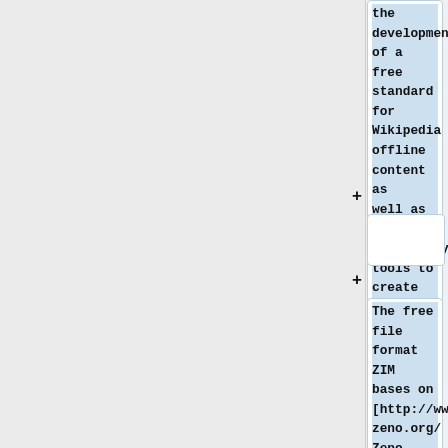the development of a free standard for Wikipedia offline content as well as all neccessary tools to create and read such data.
The free file format ZIM bases on [http://www.zeno.org/Zeno files] which were